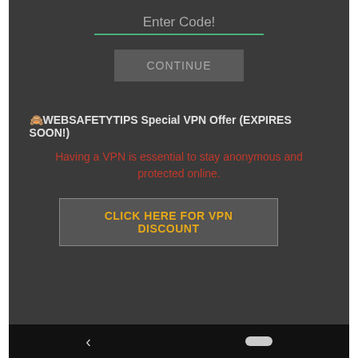Enter Code!
CONTINUE
🙈WEBSAFETYTIPS Special VPN Offer (EXPIRES SOON!)
Having a VPN is essential to stay anonymous and protected online.
CLICK HERE FOR VPN DISCOUNT